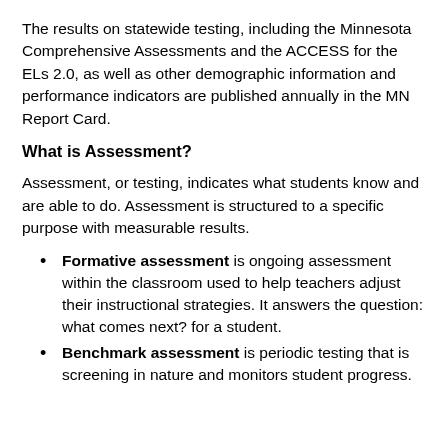The results on statewide testing, including the Minnesota Comprehensive Assessments and the ACCESS for the ELs 2.0, as well as other demographic information and performance indicators are published annually in the MN Report Card.
What is Assessment?
Assessment, or testing, indicates what students know and are able to do. Assessment is structured to a specific purpose with measurable results.
Formative assessment is ongoing assessment within the classroom used to help teachers adjust their instructional strategies. It answers the question: what comes next? for a student.
Benchmark assessment is periodic testing that is screening in nature and monitors student progress.